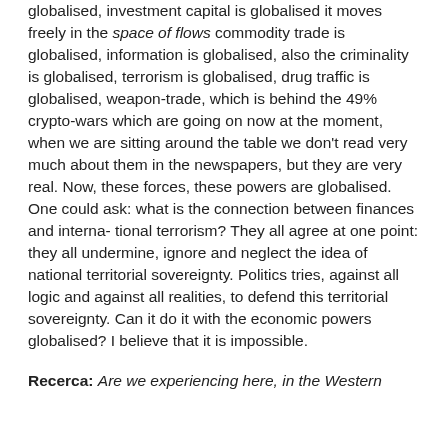globalised, investment capital is globalised it moves freely in the space of flows commodity trade is globalised, information is globalised, also the criminality is globalised, terrorism is globalised, drug traffic is globalised, weapon-trade, which is behind the 49% crypto-wars which are going on now at the moment, when we are sitting around the table we don't read very much about them in the newspapers, but they are very real. Now, these forces, these powers are globalised. One could ask: what is the connection between finances and interna- tional terrorism? They all agree at one point: they all undermine, ignore and neglect the idea of national territorial sovereignty. Politics tries, against all logic and against all realities, to defend this territorial sovereignty. Can it do it with the economic powers globalised? I believe that it is impossible.
Recerca: Are we experiencing here, in the Western